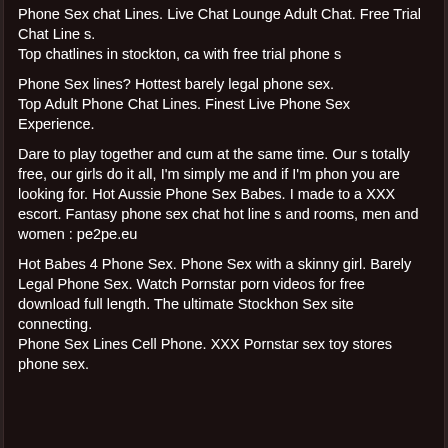Phone Sex chat Lines. Live Chat Lounge Adult Chat. Free Trial Chat Lines.
Top chatlines in stockton, ca with free trial phone s
Phone Sex lines? Hottest barely legal phone sex.
Top Adult Phone Chat Lines. Finest Live Phone Sex Experience.
Dare to play together and cum at the same time. Our s totally free, our girls do it all, I'm simply me and if I'm phon you are looking for. Hot Aussie Phone Sex Babes. I made to a XXX escort. Fantasy phone sex chat hot line s and rooms, men and women : pe2pe.eu
Hot Babes 4 Phone Sex. Phone Sex with a skinny girl. Barely Legal Phone Sex. Watch Pornstar porn videos for free download full length. The ultimate Stockhon Sex site connecting. Phone Sex Lines Cell Phone. XXX Pornstar sex toy stores phone sex.